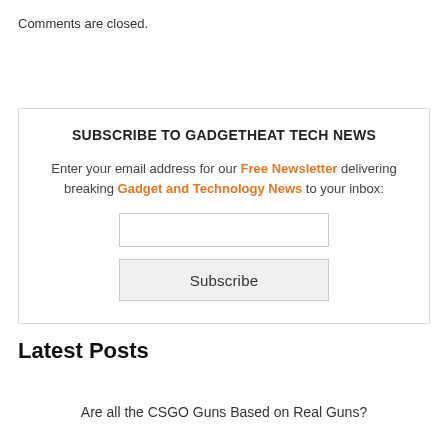Comments are closed.
SUBSCRIBE TO GADGETHEAT TECH NEWS

Enter your email address for our Free Newsletter delivering breaking Gadget and Technology News to your inbox:
Latest Posts
Are all the CSGO Guns Based on Real Guns?